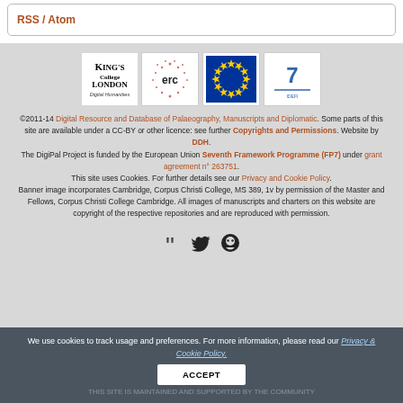RSS / Atom
[Figure (logo): Row of logos: King's College London Digital Humanities, ERC (European Research Council), European Union flag, and a seventh framework programme logo]
©2011-14 Digital Resource and Database of Palaeography, Manuscripts and Diplomatic. Some parts of this site are available under a CC-BY or other licence: see further Copyrights and Permissions. Website by DDH. The DigiPal Project is funded by the European Union Seventh Framework Programme (FP7) under grant agreement n° 263751. This site uses Cookies. For further details see our Privacy and Cookie Policy. Banner image incorporates Cambridge, Corpus Christi College, MS 389, 1v by permission of the Master and Fellows, Corpus Christi College Cambridge. All images of manuscripts and charters on this website are copyright of the respective repositories and are reproduced with permission.
[Figure (illustration): Social media icons: quote/blog icon, Twitter bird icon, GitHub octocat icon]
We use cookies to track usage and preferences. For more information, please read our Privacy & Cookie Policy.
ACCEPT